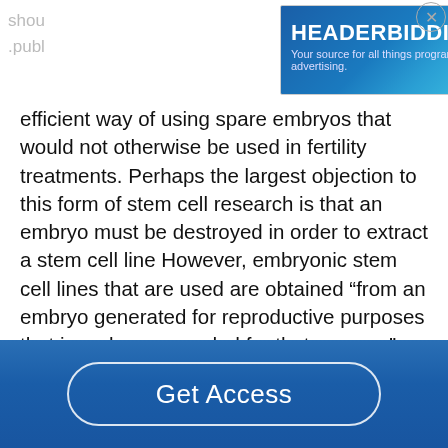[Figure (screenshot): HEADERBIDDING.COM advertisement banner: 'Your source for all things programmatic advertising.' with decorative dot pattern and teal/blue gradient background. An X close button is in the top right of the ad.]
efficient way of using spare embryos that would not otherwise be used in fertility treatments. Perhaps the largest objection to this form of stem cell research is that an embryo must be destroyed in order to extract a stem cell line However, embryonic stem cell lines that are used are obtained “from an embryo generated for reproductive purposes that is no longer needed for that purpose”, and would have been destroyed and discarded anyway (Kirchstein). Clearly, if these embryos are not used for their originally intended purpose, they should be
[Figure (other): Blue gradient footer bar with a 'Get Access' button (white outlined pill-shaped button with white text on blue background).]